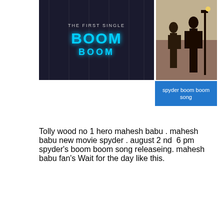[Figure (photo): Composite image: left half shows dark background with 'THE FIRST SINGLE BOOM BOOM' text in cyan neon style; right half shows silhouettes of people against a lighter background. Below the right image is a blue caption bar reading 'spyder boom boom song'.]
Tolly wood no 1 hero mahesh babu . mahesh babu new movie spyder . august 2 nd  6 pm  spyder's boom boom song releaseing. mahesh babu fan's Wait for the day like this.